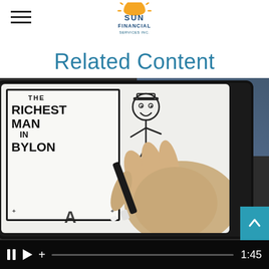Sun Financial Services Inc. — navigation header with logo and hamburger menu
Related Content
[Figure (screenshot): Video player showing a whiteboard animation of 'The Richest Man in Babylon' with a hand drawing on a tablet. Video controls visible at bottom showing pause, play, plus buttons, a progress bar, and timestamp 1:45.]